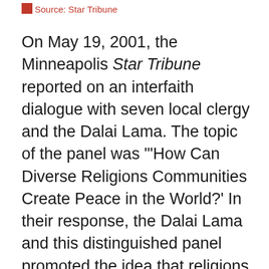Source: Star Tribune
On May 19, 2001, the Minneapolis Star Tribune reported on an interfaith dialogue with seven local clergy and the Dalai Lama. The topic of the panel was "'How Can Diverse Religions Communities Create Peace in the World?' In their response, the Dalai Lama and this distinguished panel promoted the idea that religions can be diverse without being a lot different. 'All religions carry same teaching, same goal, same potential,' the Dalai Lama said."